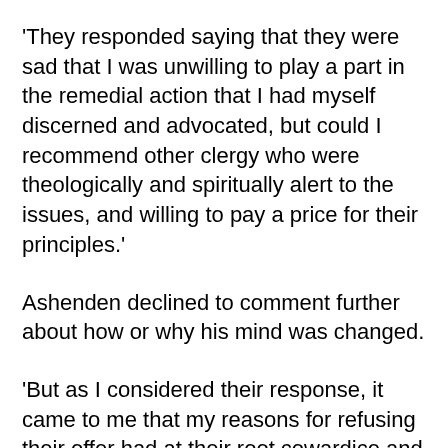'They responded saying that they were sad that I was unwilling to play a part in the remedial action that I had myself discerned and advocated, but could I recommend other clergy who were theologically and spiritually alert to the issues, and willing to pay a price for their principles.'
Ashenden declined to comment further about how or why his mind was changed.
'But as I considered their response, it came to me that my reasons for refusing their offer had at their root cowardice and a preference for self-preservation rather than a commitment to the bride of Christ and her wellbeing.'